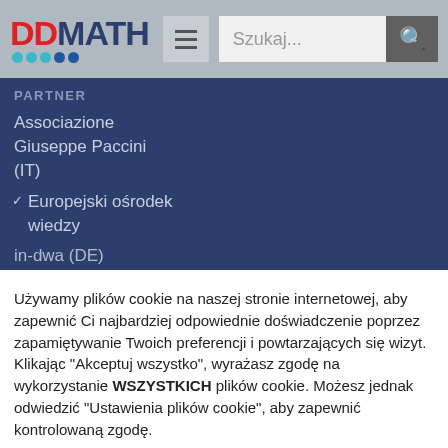DDMath - Szukaj...
PARTNER
Associazione Giuseppe Paccini (IT)
✓ Europejski ośrodek wiedzy
in-dwa (DE)
Używamy plików cookie na naszej stronie internetowej, aby zapewnić Ci najbardziej odpowiednie doświadczenie poprzez zapamiętywanie Twoich preferencji i powtarzających się wizyt. Klikając "Akceptuj wszystko", wyrażasz zgodę na wykorzystanie WSZYSTKICH plików cookie. Możesz jednak odwiedzić "Ustawienia plików cookie", aby zapewnić kontrolowaną zgodę.
Ustawienia plików cookie | Przyjmij wszystkie